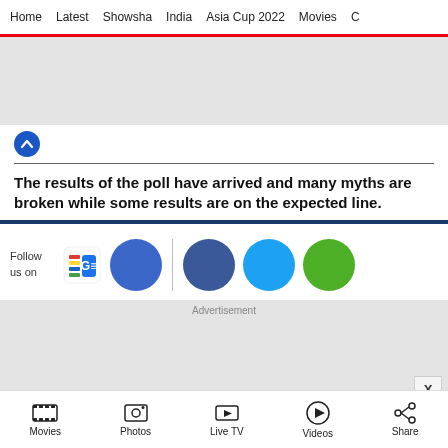Home  Latest  Showsha  India  Asia Cup 2022  Movies  C
[Figure (other): Gray advertisement banner placeholder at top]
[Figure (other): Blue circle chevron up button]
The results of the poll have arrived and many myths are broken while some results are on the expected line.
[Figure (other): Follow us on: Google News icon, Facebook circle, vertical separator, Facebook circle, Twitter circle, WhatsApp circle]
[Figure (other): Gray advertisement banner with X close button]
Movies  Photos  Live TV  Videos  Share